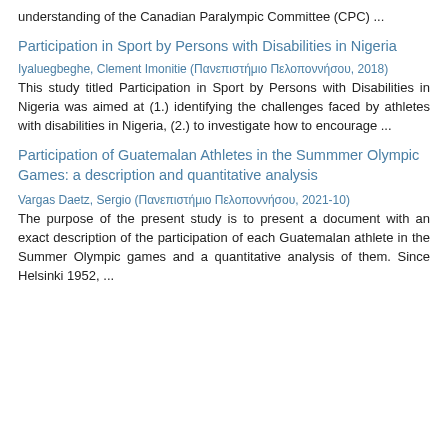understanding of the Canadian Paralympic Committee (CPC) ...
Participation in Sport by Persons with Disabilities in Nigeria
Iyaluegbeghe, Clement Imonitie (Πανεπιστήμιο Πελοποννήσου, 2018)
This study titled Participation in Sport by Persons with Disabilities in Nigeria was aimed at (1.) identifying the challenges faced by athletes with disabilities in Nigeria, (2.) to investigate how to encourage ...
Participation of Guatemalan Athletes in the Summmer Olympic Games: a description and quantitative analysis
Vargas Daetz, Sergio (Πανεπιστήμιο Πελοποννήσου, 2021-10)
The purpose of the present study is to present a document with an exact description of the participation of each Guatemalan athlete in the Summer Olympic games and a quantitative analysis of them. Since Helsinki 1952, ...